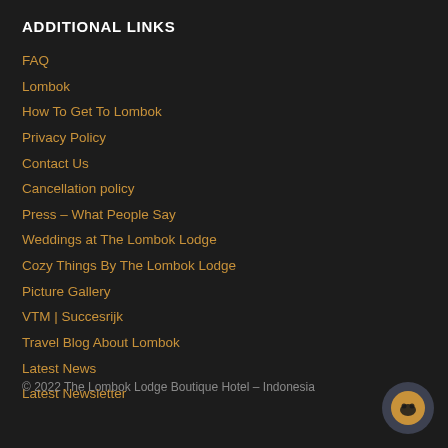ADDITIONAL LINKS
FAQ
Lombok
How To Get To Lombok
Privacy Policy
Contact Us
Cancellation policy
Press – What People Say
Weddings at The Lombok Lodge
Cozy Things By The Lombok Lodge
Picture Gallery
VTM | Succesrijk
Travel Blog About Lombok
Latest News
Latest Newsletter
© 2022 The Lombok Lodge Boutique Hotel – Indonesia